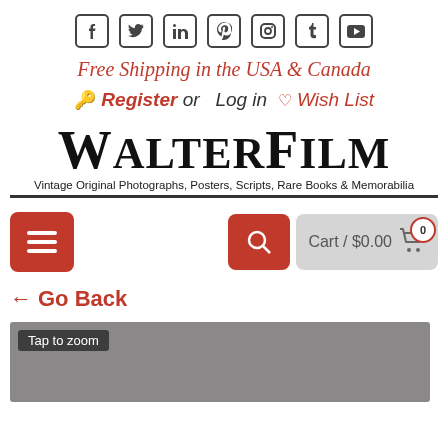[Figure (other): Social media icons row: Facebook, Twitter, LinkedIn, Pinterest, Instagram, Tumblr, YouTube]
Free Shipping in the USA & Canada
Register or  Log in  Wish List
[Figure (logo): WalterFilm logo with tagline: Vintage Original Photographs, Posters, Scripts, Rare Books & Memorabilia]
[Figure (screenshot): Navigation bar with hamburger menu, search button, cart showing $0.00 with 0 badge]
← Go Back
[Figure (photo): Product image area with 'Tap to zoom' overlay on grey background]